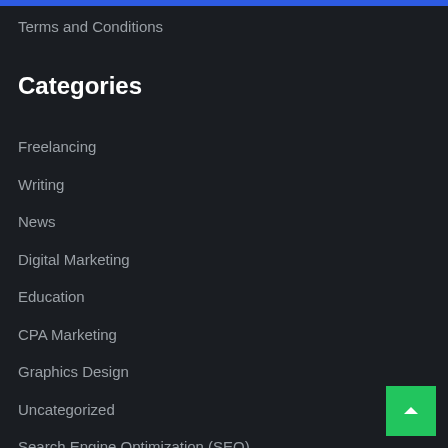Terms and Conditions
Categories
Freelancing
Writing
News
Digital Marketing
Education
CPA Marketing
Graphics Design
Uncategorized
Search Engine Optimization (SEO)
WordPress